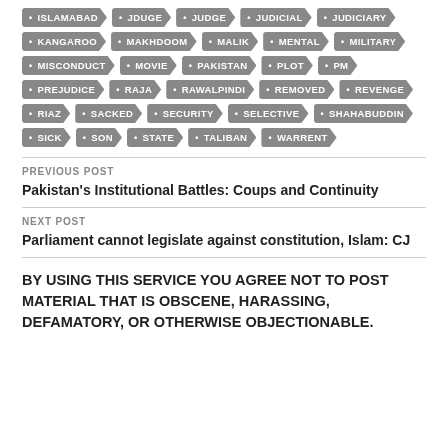ISLAMABAD • JDUGE • JUDGE • JUDICIAL • JUDICIARY • KANGAROO • MAKHDOOM • MALIK • MENTAL • MILITARY • MISCONDUCT • MOVIE • PAKISTAN • PLOT • PM • PREJUDICE • RAJA • RAWALPINDI • REMOVED • REVENGE • RIAZ • SACKED • SECURITY • SELECTIVE • SHAHABUDDIN • SICK • SON • STATE • TALIBAN • WARRENT
PREVIOUS POST
Pakistan's Institutional Battles: Coups and Continuity
NEXT POST
Parliament cannot legislate against constitution, Islam: CJ
BY USING THIS SERVICE YOU AGREE NOT TO POST MATERIAL THAT IS OBSCENE, HARASSING, DEFAMATORY, OR OTHERWISE OBJECTIONABLE.